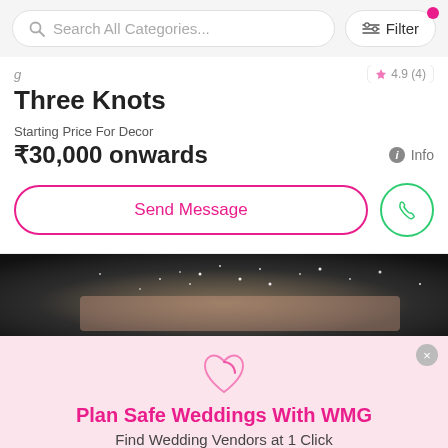Search All Categories...  Filter
Three Knots
Starting Price For Decor
₹30,000 onwards
Send Message
[Figure (photo): Fireworks photo in background, partially visible]
Plan Safe Weddings With WMG
Find Wedding Vendors at 1 Click
Download the WMG App